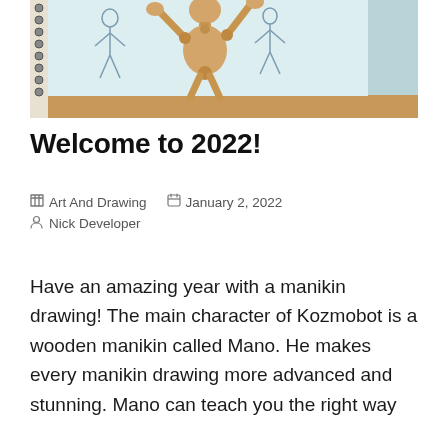[Figure (photo): A wooden artist mannequin/manikin posed in front of a spiral-bound sketchbook. The sketchbook contains pencil sketches of figure drawings. The mannequin is made of light natural wood and is positioned on a wooden surface.]
Welcome to 2022!
Art And Drawing   January 2, 2022
Nick Developer
Have an amazing year with a manikin drawing! The main character of Kozmobot is a wooden manikin called Mano. He makes every manikin drawing more advanced and stunning. Mano can teach you the right way